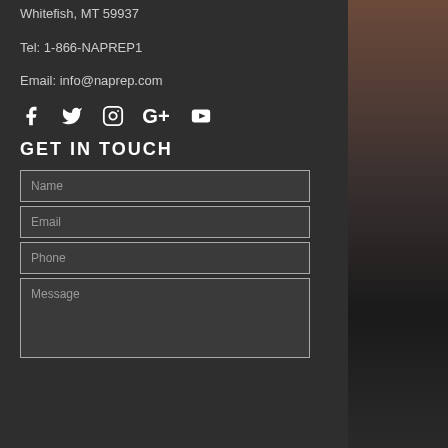Whitefish, MT 59937
Tel: 1-866-NAPREP1
Email: info@naprep.com
[Figure (infographic): Social media icons: Facebook, Twitter, Instagram, Google+, YouTube]
GET IN TOUCH
[Figure (screenshot): Contact form with fields: Name, Email, Phone, Message]